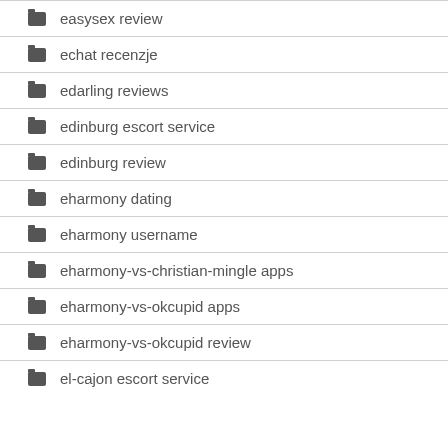easysex review
echat recenzje
edarling reviews
edinburg escort service
edinburg review
eharmony dating
eharmony username
eharmony-vs-christian-mingle apps
eharmony-vs-okcupid apps
eharmony-vs-okcupid review
el-cajon escort service